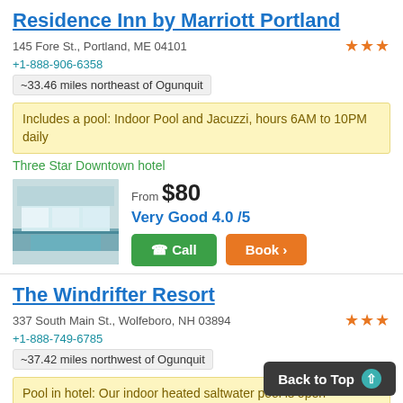Residence Inn by Marriott Portland
145 Fore St., Portland, ME 04101
+1-888-906-6358
~33.46 miles northeast of Ogunquit
Includes a pool: Indoor Pool and Jacuzzi, hours 6AM to 10PM daily
Three Star Downtown hotel
From $80
Very Good 4.0 /5
The Windrifter Resort
337 South Main St., Wolfeboro, NH 03894
+1-888-749-6785
~37.42 miles northwest of Ogunquit
Pool in hotel: Our indoor heated saltwater pool is open daily9:00AM-9:00PM